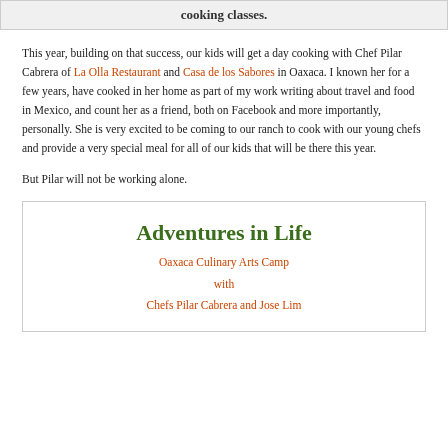cooking classes.
This year, building on that success, our kids will get a day cooking with Chef Pilar Cabrera of La Olla Restaurant and Casa de los Sabores in Oaxaca. I known her for a few years, have cooked in her home as part of my work writing about travel and food in Mexico, and count her as a friend, both on Facebook and more importantly, personally. She is very excited to be coming to our ranch to cook with our young chefs and provide a very special meal for all of our kids that will be there this year.
But Pilar will not be working alone.
Adventures in Life
Oaxaca Culinary Arts Camp
with
Chefs Pilar Cabrera and Jose Lim